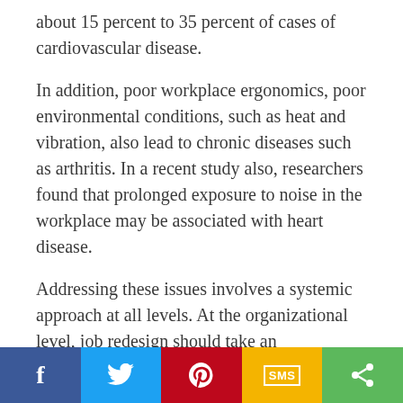about 15 percent to 35 percent of cases of cardiovascular disease.
In addition, poor workplace ergonomics, poor environmental conditions, such as heat and vibration, also lead to chronic diseases such as arthritis. In a recent study also, researchers found that prolonged exposure to noise in the workplace may be associated with heart disease.
Addressing these issues involves a systemic approach at all levels. At the organizational level, job redesign should take an employee-centric approach; workplace stress should be stemmed by providing workers with more control over their work, providing incentives and performance-based rewards, and prioritizing a healthy work-
f  [twitter]  [pinterest]  SMS  [share]